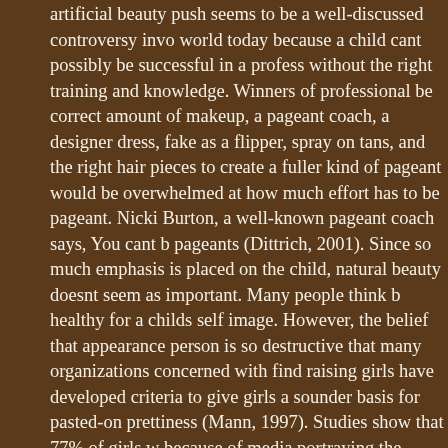artificial beauty push seems to be a well-discussed controversy involving the world today because a child cant possibly be successful in a professional pageant without the right training and knowledge. Winners of professional beauty pageants need the correct amount of makeup, a pageant coach, a designer dress, fake teeth known as a flipper, spray on tans, and the right hair pieces to create a fuller look. A person new to this kind of pageant would be overwhelmed at how much effort has to be put into the pageant. Nicki Burton, a well-known pageant coach says, You cant buy experience in pageants (Dittrich, 2001). Since so much emphasis is placed on the appearance of the child, natural beauty doesnt seem as important. Many people think beauty pageants are healthy for a childs self image. However, the belief that appearance defines a persons worth as a person is so destructive that many organizations concerned with finding healthy ways of raising girls have developed criteria to give girls a sounder basis for self-esteem than pasted-on prettiness (Mann, 1997). Studies show that 77% of girls who are unhappy with themselves because of media portraying the perfect girl as skinny and beautiful (Mann, 1997). Since beauty pageants have winners only with the perfect image, beauty pageants are increasing the percentage of girls who do not have a good self-image of themselves. This is extremely not healthy, which creates a negative side of beauty pageants that many tend to ignore. Many parents believe that beauty pageants have a positive effect on children and child development which is why so many children are entered into beauty pageants on a yearly basis. Some of these parents arent informed of the harmful effects of beauty pageants. Even if parents ignore these harmful effects, beauty pageants are still unsafe. Many parents see beauty pageants as are a fun way for children to compete with other children their age, and a chance to help pay for a college education with scholarships offered to the winners.